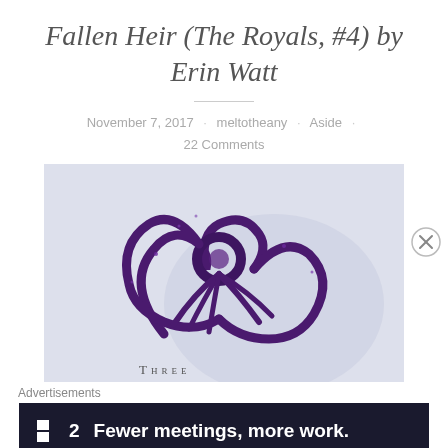Fallen Heir (The Royals, #4) by Erin Watt
November 7, 2017 · meltotheany · Aside · 22 Comments
[Figure (illustration): Book cover illustration showing a purple rope/cord knotted into a crown-like floral shape against a light lavender background. The word 'Three' appears at the bottom.]
Advertisements
[Figure (other): Advertisement banner for Fewer meetings, more work. by Flat2 on dark navy background.]